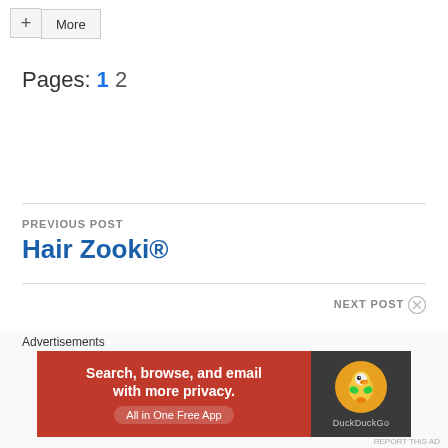[Figure (screenshot): A button group with a '+' button and a 'More' button]
Pages: 1 2
PREVIOUS POST
Hair Zooki®
NEXT POST
Advertisements
[Figure (screenshot): DuckDuckGo advertisement banner: 'Search, browse, and email with more privacy. All in One Free App']